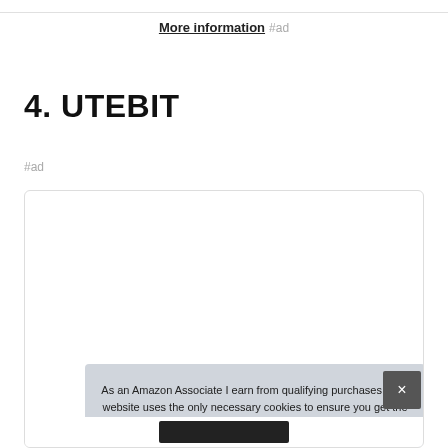More information #ad
4. UTEBIT
#ad
[Figure (screenshot): Product card with rounded border showing partial product image at bottom]
As an Amazon Associate I earn from qualifying purchases. This website uses the only necessary cookies to ensure you get the best experience on our website. More information